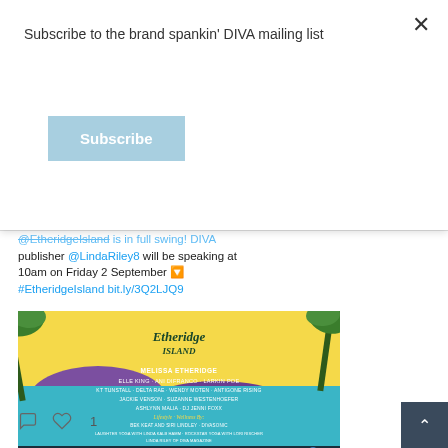Subscribe to the brand spankin' DIVA mailing list
Subscribe
@EtheridgeIsland is in full swing! DIVA publisher @LindaRiley8 will be speaking at 10am on Friday 2 September ⬇ #EtheridgeIsland bit.ly/3Q2LJQ9
[Figure (photo): Etheridge Island festival promotional image listing performers including Melissa Etheridge, Elle King, Ani DiFranco, Larkin Poe, KT Tunstall, Delta Rae, Wendy Moten, Antigone Rising, Jackie Venson, Suzanne Westenhoefer, Ashlynn Malia, DJ Jenni Foxx. Lifestyle & Wellness by Bek Keat and Siri Lindley, Divasonic, Laughter Yoga with Linda Kalb Hamm, Rockstar Yoga with Lori Rischer, Linda Riley of Diva Magazine. August 30 - September 3 2022, Dreams Secrets, Playa Mujeres Mexico. etheridgeisland.com #etheridgeisland DIVA logo.]